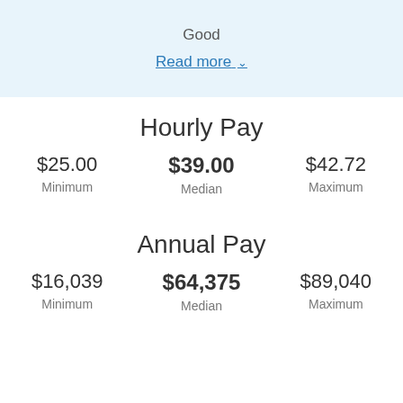Good
Read more ∨
Hourly Pay
$25.00 Minimum
$39.00 Median
$42.72 Maximum
Annual Pay
$16,039 Minimum
$64,375 Median
$89,040 Maximum